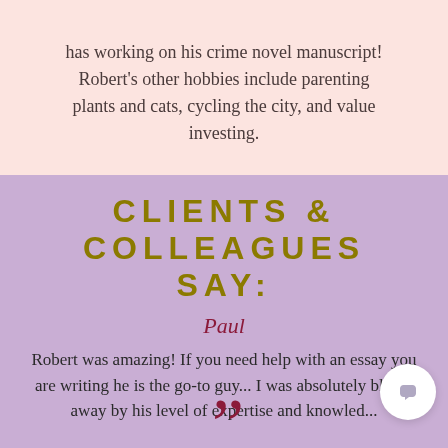has working on his crime novel manuscript! Robert's other hobbies include parenting plants and cats, cycling the city, and value investing.
CLIENTS & COLLEAGUES SAY:
Paul
Robert was amazing! If you need help with an essay you are writing he is the go-to guy... I was absolutely blown away by his level of expertise and knowledge